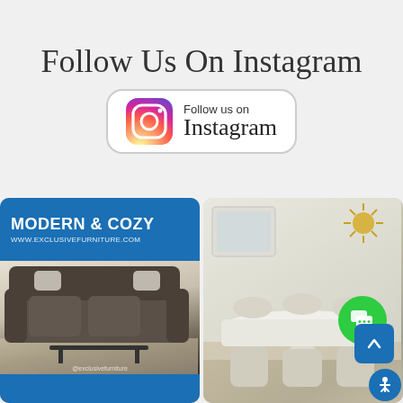Follow Us On Instagram
[Figure (logo): Instagram follow button with gradient Instagram logo icon and text 'Follow us on Instagram']
[Figure (photo): Instagram post showing a gray sectional sofa in a modern living room with text 'MODERN & COZY' and 'www.exclusivefurniture.com' on a blue banner]
[Figure (photo): Instagram photo of a white luxury dining room set with upholstered chairs, decorative starburst mirror and gold accessories]